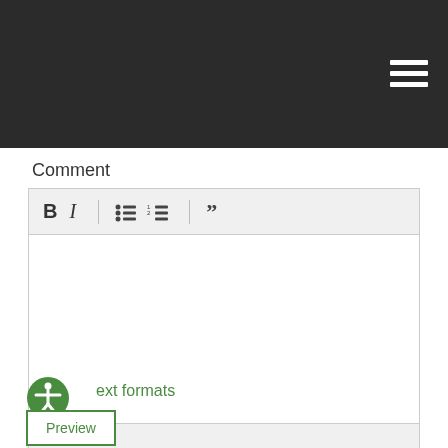[Figure (screenshot): Dark navigation bar with hamburger menu icon (three horizontal white lines) in top right corner]
Comment
[Figure (screenshot): Rich text editor with toolbar containing Bold (B), Italic (I), unordered list, ordered list, and blockquote buttons, followed by an empty text area and a footer bar]
ext formats
Preview